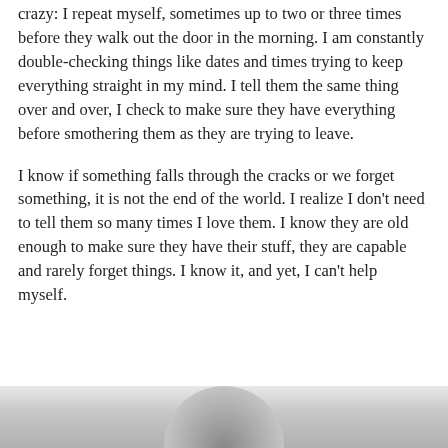crazy: I repeat myself, sometimes up to two or three times before they walk out the door in the morning. I am constantly double-checking things like dates and times trying to keep everything straight in my mind. I tell them the same thing over and over, I check to make sure they have everything before smothering them as they are trying to leave.
I know if something falls through the cracks or we forget something, it is not the end of the world. I realize I don't need to tell them so many times I love them. I know they are old enough to make sure they have their stuff, they are capable and rarely forget things. I know it, and yet, I can't help myself.
[Figure (photo): Partial photo at bottom of page showing a blurred silhouette of a person, gray tones]